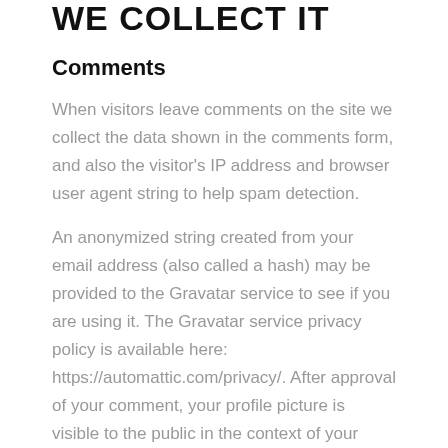WE COLLECT IT
Comments
When visitors leave comments on the site we collect the data shown in the comments form, and also the visitor's IP address and browser user agent string to help spam detection.
An anonymized string created from your email address (also called a hash) may be provided to the Gravatar service to see if you are using it. The Gravatar service privacy policy is available here: https://automattic.com/privacy/. After approval of your comment, your profile picture is visible to the public in the context of your comment.
Media
If you upload images to the website, you should